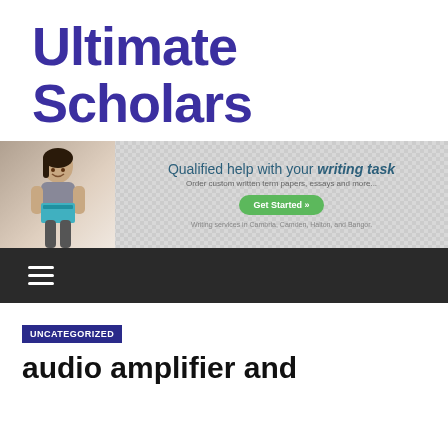Ultimate Scholars
[Figure (infographic): Promotional banner with a woman holding books, text 'Qualified help with your writing task', 'Order custom written term papers, essays and more...', a green 'Get Started' button, and small text below.]
☰ (hamburger menu navigation bar)
UNCATEGORIZED
audio amplifier and